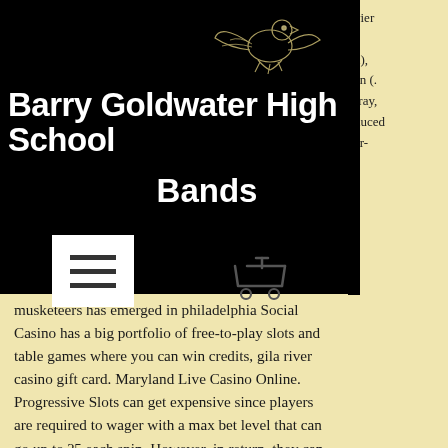Barry Goldwater High School Bands
[Figure (logo): Barry Goldwater High School mascot logo - eagle/hawk outline in white on black background]
Barry Goldwater High School
Bands
[Figure (other): Hamburger menu icon - three horizontal lines on white square background]
[Figure (other): Shopping cart icon outline]
vier
n),
an (.
-ray,
duced
er-
e
musketeers has emerged in philadelphia Social Casino has a big portfolio of free-to-play slots and table games where you can win credits, gila river casino gift card. Maryland Live Casino Online. Progressive Slots can get expensive since players are required to wager with a max bet level that can go up to ?5 each spin. However, in return, they can land in a chance to win real money in millions, wild rose casino clinton iowa. Notwithstanding anything to the contrary contained in this Agreement, OLG shall not be liable for any loss or damage